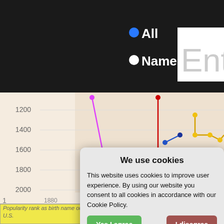[Figure (line-chart): Name popularity rank chart over years (1880-2003+), showing multiple colored lines (magenta, red, blue, yellow/gold) plotting popularity rank as birth name. Y-axis shows ranks 1200-2000, x-axis shows years 1880-2003. Background has a faded photo of a person.]
We use cookies
This website uses cookies to improve user experience. By using our website you consent to all cookies in accordance with our Cookie Policy.
Yes I agree
I disagree
Read more
Free cookie consent by cookie-script.com
Popularity rank as birth name outside U.S.
All
Name